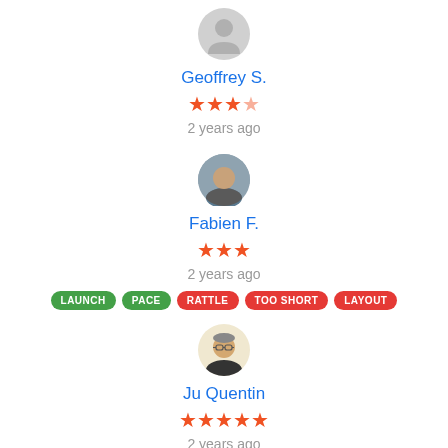[Figure (illustration): Generic user avatar icon (grey silhouette)]
Geoffrey S.
★★★½
2 years ago
[Figure (photo): Circular profile photo of Fabien F., person with dark hair outdoors]
Fabien F.
★★★
2 years ago
LAUNCH
PACE
RATTLE
TOO SHORT
LAYOUT
[Figure (photo): Circular profile photo of Ju Quentin, person with glasses]
Ju Quentin
★★★★★
2 years ago
[Figure (photo): Partial circular profile photo at bottom of page]